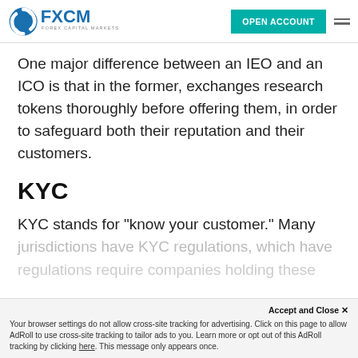FXCM - Forex Capital Markets | OPEN ACCOUNT
One major difference between an IEO and an ICO is that in the former, exchanges research tokens thoroughly before offering them, in order to safeguard both their reputation and their customers.
KYC
KYC stands for "know your customer." Many jurisdictions have KYC regulations, which have regulations require companies holding these
Accept and Close ×
Your browser settings do not allow cross-site tracking for advertising. Click on this page to allow AdRoll to use cross-site tracking to tailor ads to you. Learn more or opt out of this AdRoll tracking by clicking here. This message only appears once.